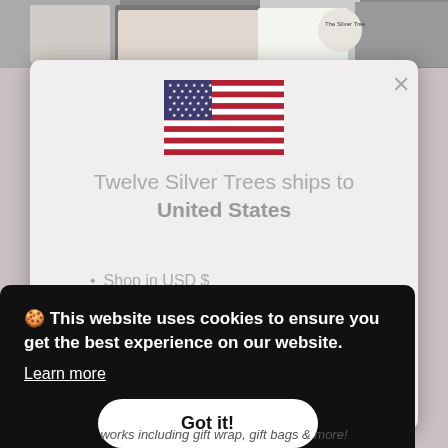[Figure (photo): Background product photos visible at the top of the page behind the modal]
[Figure (illustration): US flag SVG illustration centered in the modal dialog]
Twelve Silver Trees ships to United States
Shop in USD $
Get shipping options for United States
🍪 This website uses cookies to ensure you get the best experience on our website.
Learn more
Got it!
works including gift wrap, gift bags & more!